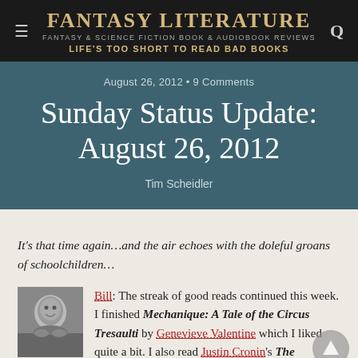Fantasy Literature — Fantasy & Science Fiction Book & Audiobook Reviews — Life's Too Short to Read Bad Books
August 26, 2012 • 9 Comments
Sunday Status Update: August 26, 2012
Tim Scheidler
It's that time again…and the air echoes with the doleful groans of schoolchildren…
Bill: The streak of good reads continued this week. I finished Mechanique: A Tale of the Circus Tresaulti by Genevieve Valentine which I liked quite a bit. I also read Justin Cronin's The